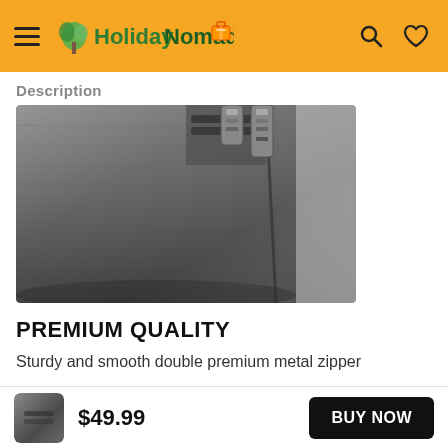HolidayNomad [logo with hamburger menu, search, and heart icons]
Description
[Figure (photo): Close-up photo of a dark gray fabric bag showing a double metal zipper detail against a light background]
PREMIUM QUALITY
Sturdy and smooth double premium metal zipper
[Figure (photo): Small thumbnail image of a dark gray bag or luggage item]
$49.99
BUY NOW